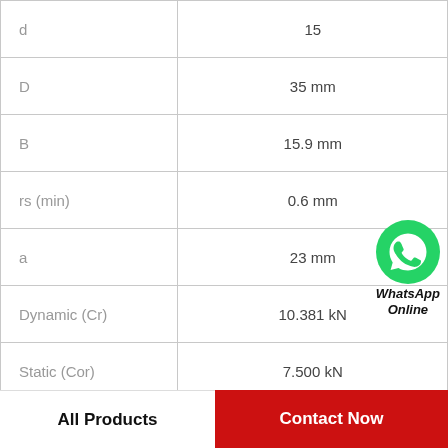| Parameter | Value |
| --- | --- |
| d | 15 |
| D | 35 mm |
| B | 15.9 mm |
| rs (min) | 0.6 mm |
| a | 23 mm |
| Dynamic (Cr) | 10.381 kN |
| Static (Cor) | 7.500 kN |
| Pu | 0.341 kN |
[Figure (logo): WhatsApp Online badge with green WhatsApp logo icon and text 'WhatsApp Online']
All Products | Contact Now